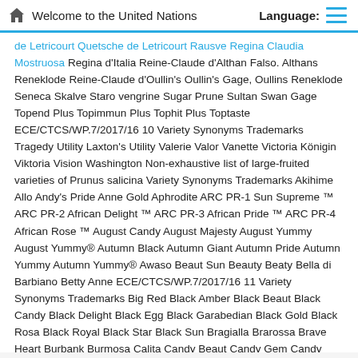Welcome to the United Nations   Language:
de Letricourt Quetsche de Letricourt Rausve Regina Claudia Mostruosa Regina d'Italia Reine-Claude d'Althan Falso. Althans Reneklode Reine-Claude d'Oullin's Oullin's Gage, Oullins Reneklode Seneca Skalve Staro vengrine Sugar Prune Sultan Swan Gage Topend Plus Topimmun Plus Tophit Plus Toptaste ECE/CTCS/WP.7/2017/16 10 Variety Synonyms Trademarks Tragedy Utility Laxton's Utility Valerie Valor Vanette Victoria Königin Viktoria Vision Washington Non-exhaustive list of large-fruited varieties of Prunus salicina Variety Synonyms Trademarks Akihime Allo Andy's Pride Anne Gold Aphrodite ARC PR-1 Sun Supreme ™ ARC PR-2 African Delight ™ ARC PR-3 African Pride ™ ARC PR-4 African Rose ™ August Candy August Majesty August Yummy August Yummy® Autumn Black Autumn Giant Autumn Pride Autumn Yummy Autumn Yummy® Awaso Beaut Sun Beauty Beaty Bella di Barbiano Betty Anne ECE/CTCS/WP.7/2017/16 11 Variety Synonyms Trademarks Big Red Black Amber Black Beaut Black Candy Black Delight Black Egg Black Garabedian Black Gold Black Rosa Black Royal Black Star Black Sun Bragialla Brarossa Brave Heart Burbank Burmosa Calita Candy Beaut Candy Gem Candy Giant Candy Rosa Casselman Kesselman Catalina Celebration Centenaria Constanza Crimson Glo Crocodile Dundee Damask Heart Del Rey Sun Delbarazur ECE/CTCS/WP.7/2017/16 12 Variety Synonyms Trademarks Dofi Sandra Dolar Earlamoon Earliqueen Eclipse Eldorado Emerald Beaut Eric Sun Extreme Fallette Florence Ruby Crunch® Formosa Fortune Friar Frontier Gaia Gavearli Gaviota Globe Sun Goccia d'Oro Golden Japan Shiro Golden King Golden Kiss African Pride ™ Golden Plum